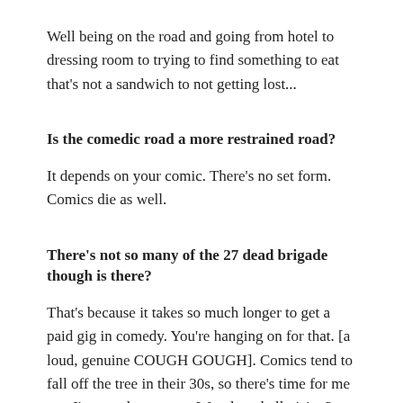Well being on the road and going from hotel to dressing room to trying to find something to eat that's not a sandwich to not getting lost...
Is the comedic road a more restrained road?
It depends on your comic. There's no set form. Comics die as well.
There's not so many of the 27 dead brigade though is there?
That's because it takes so much longer to get a paid gig in comedy. You're hanging on for that. [a loud, genuine COUGH GOUGH]. Comics tend to fall off the tree in their 30s, so there's time for me yet. I've got three years. Was there hellraising? What we're talking about here is feeling ill. I have felt ill sometimes.
Were there waves of regrets?